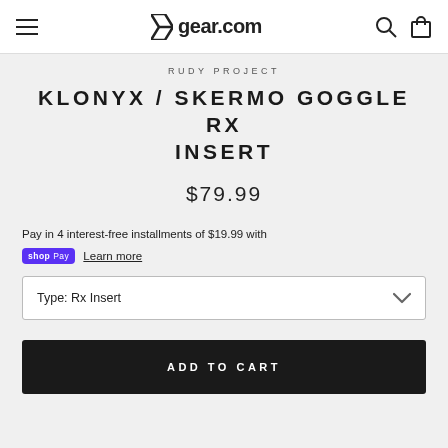gear.com
RUDY PROJECT
KLONYX / SKERMO GOGGLE RX INSERT
$79.99
Pay in 4 interest-free installments of $19.99 with
shop Pay  Learn more
Type: Rx Insert
ADD TO CART